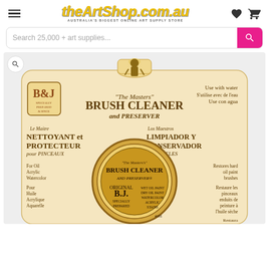theArtShop.com.au — AUSTRALIA'S BIGGEST ONLINE ART SUPPLY STORE
Search 25,000 + art supplies...
[Figure (photo): Product photo of The Masters Brush Cleaner and Preserver tin by B&J, shown on its retail card. The card is cream/beige coloured with vintage-style brown typography. Features multilingual text including English (BRUSH CLEANER and PRESERVER), French (NETTOYANT et PROTECTEUR pour PINCEAUX), and Spanish (LIMPIADOR Y CONSERVADOR de PINCELES). Text indicates Use with water, For Oil/Acrylic/Watercolor, Restores hard oil paint brushes. The circular tin shows The Masters Brush Cleaner and Preserver branding with an illustration of a painter.]